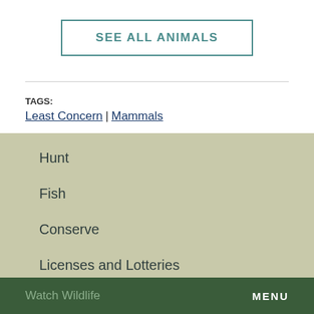SEE ALL ANIMALS
TAGS: Least Concern | Mammals
Hunt
Fish
Conserve
Licenses and Lotteries
Watch Wildlife   MENU